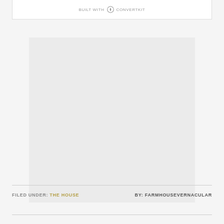[Figure (screenshot): ConvertKit built-with banner at the top, partially visible at top edge of page]
[Figure (photo): Large light gray image placeholder rectangle in the center of the page]
FILED UNDER: THE HOUSE   BY: FARMHOUSEVERNACULAR